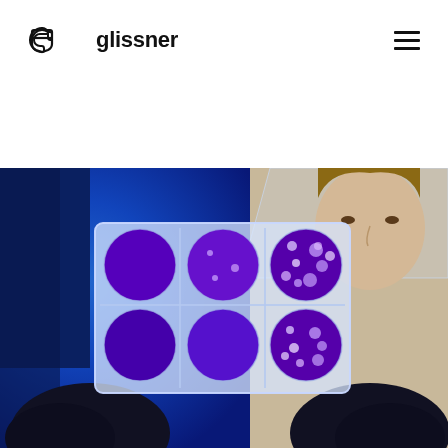G glissner [hamburger menu]
[Figure (photo): Laboratory researcher in protective face shield and black gloves holding a 6-well cell culture plate with purple crystal violet staining showing viral plaques, blue-lit lab background]